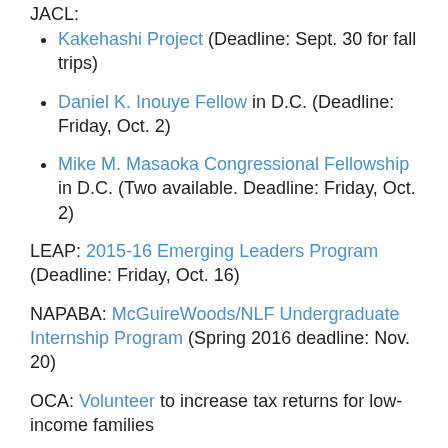JACL:
Kakehashi Project (Deadline: Sept. 30 for fall trips)
Daniel K. Inouye Fellow in D.C. (Deadline: Friday, Oct. 2)
Mike M. Masaoka Congressional Fellowship in D.C. (Two available. Deadline: Friday, Oct. 2)
LEAP: 2015-16 Emerging Leaders Program (Deadline: Friday, Oct. 16)
NAPABA: McGuireWoods/NLF Undergraduate Internship Program (Spring 2016 deadline: Nov. 20)
OCA: Volunteer to increase tax returns for low-income families
SEARAC: Education Policy Intern